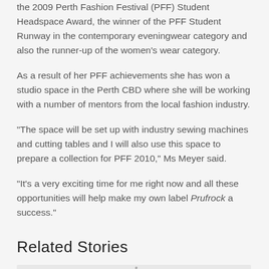the 2009 Perth Fashion Festival (PFF) Student Headspace Award, the winner of the PFF Student Runway in the contemporary eveningwear category and also the runner-up of the women's wear category.
As a result of her PFF achievements she has won a studio space in the Perth CBD where she will be working with a number of mentors from the local fashion industry.
“The space will be set up with industry sewing machines and cutting tables and I will also use this space to prepare a collection for PFF 2010,” Ms Meyer said.
“It’s a very exciting time for me right now and all these opportunities will help make my own label Prufrock a success.”
Related Stories
[Figure (logo): Partial logo image visible at bottom of page]